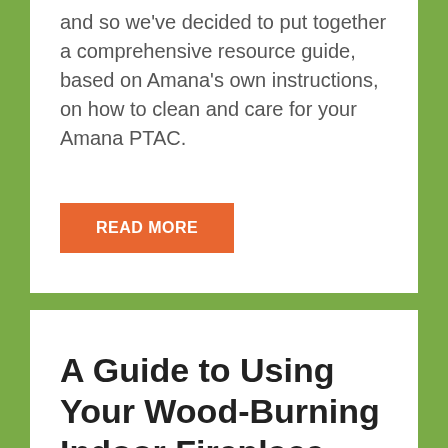and so we've decided to put together a comprehensive resource guide, based on Amana's own instructions, on how to clean and care for your Amana PTAC.
READ MORE
A Guide to Using Your Wood-Burning Indoor Fireplace
December 19, 2014  | 2 Comments